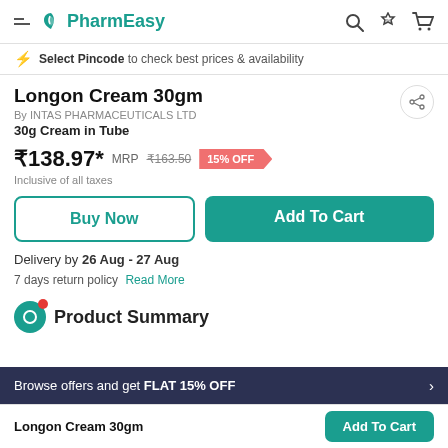PharmEasy
Select Pincode to check best prices & availability
Longon Cream 30gm
By INTAS PHARMACEUTICALS LTD
30g Cream in Tube
₹138.97* MRP ₹163.50 15% OFF
Inclusive of all taxes
Buy Now
Add To Cart
Delivery by 26 Aug - 27 Aug
7 days return policy  Read More
Product Summary
Browse offers and get FLAT 15% OFF
Longon Cream 30gm  Add To Cart